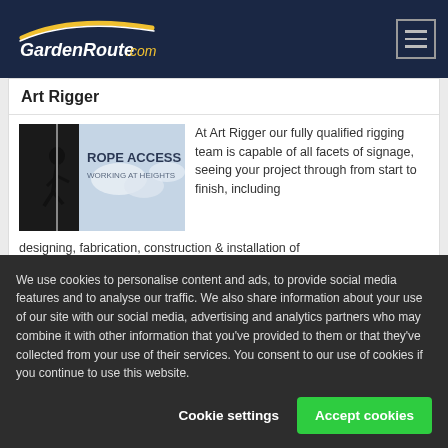GardenRoute.com
Art Rigger
[Figure (photo): Rope Access Working At Heights image showing a silhouetted person rappelling with text overlay]
At Art Rigger our fully qualified rigging team is capable of all facets of signage, seeing your project through from start to finish, including designing, fabrication, construction & installation of
We use cookies to personalise content and ads, to provide social media features and to analyse our traffic. We also share information about your use of our site with our social media, advertising and analytics partners who may combine it with other information that you've provided to them or that they've collected from your use of their services. You consent to our use of cookies if you continue to use this website.
Cookie settings
Accept cookies